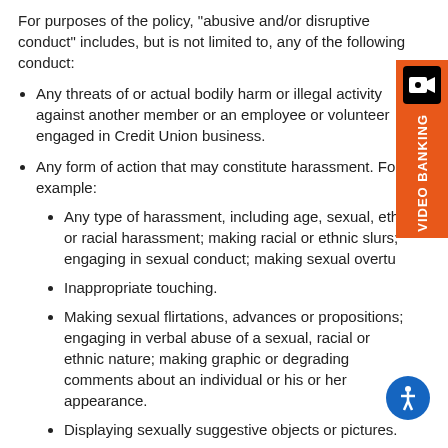For purposes of the policy, "abusive and/or disruptive conduct" includes, but is not limited to, any of the following conduct:
Any threats of or actual bodily harm or illegal activity against another member or an employee or volunteer engaged in Credit Union business.
Any form of action that may constitute harassment. For example:
Any type of harassment, including age, sexual, ethnic or racial harassment; making racial or ethnic slurs; engaging in sexual conduct; making sexual overtures
Inappropriate touching.
Making sexual flirtations, advances or propositions; engaging in verbal abuse of a sexual, racial or ethnic nature; making graphic or degrading comments about an individual or his or her appearance.
Displaying sexually suggestive objects or pictures.